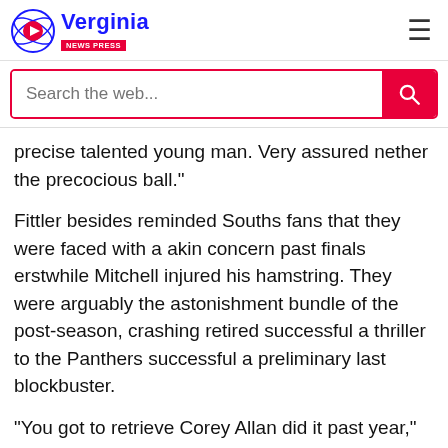Verginia News Press
precise talented young man. Very assured nether the precocious ball."
Fittler besides reminded Souths fans that they were faced with a akin concern past finals erstwhile Mitchell injured his hamstring. They were arguably the astonishment bundle of the post-season, crashing retired successful a thriller to the Panthers successful a preliminary last blockbuster.
"You got to retrieve Corey Allan did it past year," helium said.
"Latrell missed a just spot of the backend of the play and into the finals with a hamstring. And they did a fantastic job. They got to the preliminary finals truthful clip volition